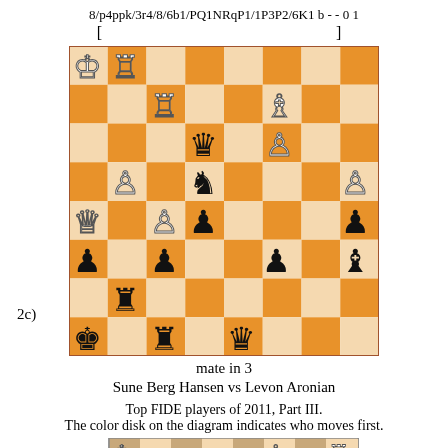8/p4ppk/3r4/8/6b1/PQ1NRqP1/1P3P2/6K1 b - - 0 1
[     ]
[Figure (other): Chess diagram labeled 2c showing a chess position with pieces on an 8x8 orange and light board]
mate in 3
Sune Berg Hansen vs Levon Aronian
Top FIDE players of 2011, Part III.
The color disk on the diagram indicates who moves first.
[Figure (other): Chess diagram showing a position with row numbers 1, 2, 3 visible on the left side, pieces on a brown and tan board]